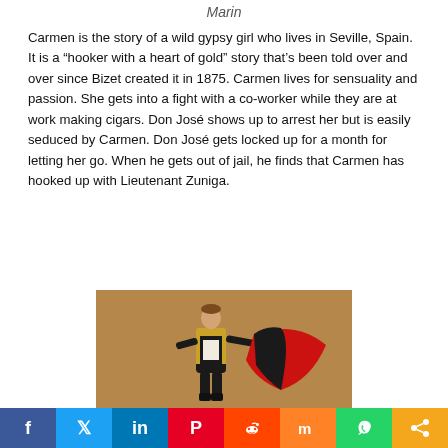Marin
Carmen is the story of a wild gypsy girl who lives in Seville, Spain. It is a “hooker with a heart of gold” story that’s been told over and over since Bizet created it in 1875. Carmen lives for sensuality and passion. She gets into a fight with a co-worker while they are at work making cigars. Don José shows up to arrest her but is easily seduced by Carmen. Don José gets locked up for a month for letting her go. When he gets out of jail, he finds that Carmen has hooked up with Lieutenant Zuniga.
[Figure (photo): A man dressed in a matador costume with black and gold jacket and red and black cape, posed against a brown/tan background.]
Social sharing bar: Facebook, Twitter, LinkedIn, Pinterest, Reddit, Mix, WhatsApp, Share